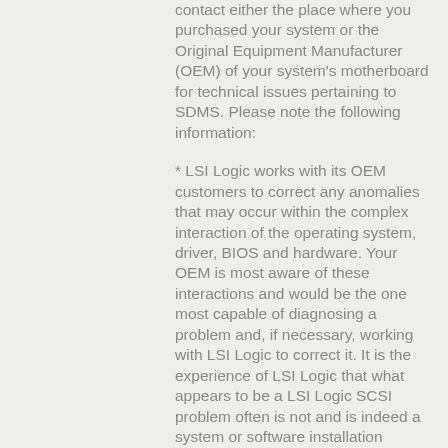contact either the place where you purchased your system or the Original Equipment Manufacturer (OEM) of your system's motherboard for technical issues pertaining to SDMS. Please note the following information:
* LSI Logic works with its OEM customers to correct any anomalies that may occur within the complex interaction of the operating system, driver, BIOS and hardware. Your OEM is most aware of these interactions and would be the one most capable of diagnosing a problem and, if necessary, working with LSI Logic to correct it. It is the experience of LSI Logic that what appears to be a LSI Logic SCSI problem often is not and is indeed a system or software installation problem.
* By contacting the OEM for support, you will be assured of receiving the latest SDMS BIOS and